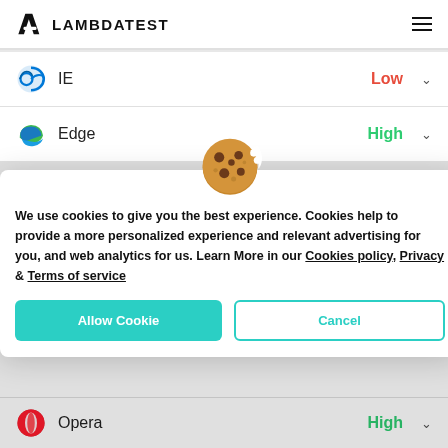LAMBDATEST
[Figure (screenshot): IE browser row with Low badge]
[Figure (screenshot): Edge browser row with High badge]
[Figure (illustration): Cookie emoji icon]
We use cookies to give you the best experience. Cookies help to provide a more personalized experience and relevant advertising for you, and web analytics for us. Learn More in our Cookies policy, Privacy & Terms of service
[Figure (screenshot): Allow Cookie and Cancel buttons]
[Figure (screenshot): Opera browser row with High badge]